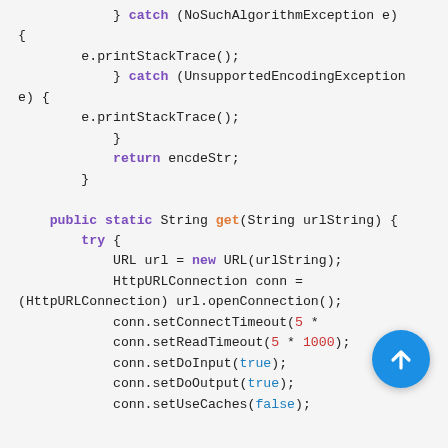Java code snippet showing catch blocks, return statement, and a public static String get(String urlString) method with try block containing URL/HttpURLConnection setup